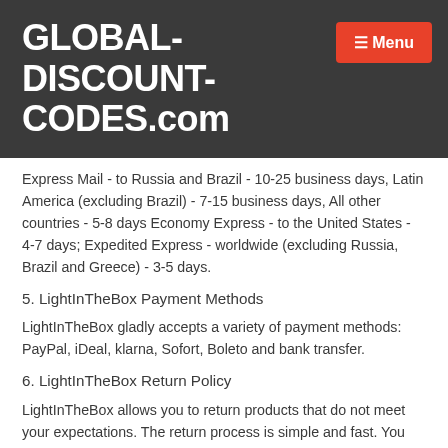GLOBAL-DISCOUNT-CODES.com
Express Mail - to Russia and Brazil - 10-25 business days, Latin America (excluding Brazil) - 7-15 business days, All other countries - 5-8 days Economy Express - to the United States - 4-7 days; Expedited Express - worldwide (excluding Russia, Brazil and Greece) - 3-5 days.
5. LightInTheBox Payment Methods
LightInTheBox gladly accepts a variety of payment methods: PayPal, iDeal, klarna, Sofort, Boleto and bank transfer.
6. LightInTheBox Return Policy
LightInTheBox allows you to return products that do not meet your expectations. The return process is simple and fast. You can return almost all products and request a full refund. Contact the Light in the Box support team within